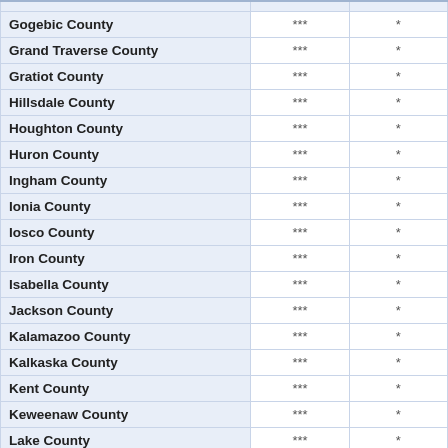|  |  |  |
| --- | --- | --- |
| Gogebic County | *** | * |
| Grand Traverse County | *** | * |
| Gratiot County | *** | * |
| Hillsdale County | *** | * |
| Houghton County | *** | * |
| Huron County | *** | * |
| Ingham County | *** | * |
| Ionia County | *** | * |
| Iosco County | *** | * |
| Iron County | *** | * |
| Isabella County | *** | * |
| Jackson County | *** | * |
| Kalamazoo County | *** | * |
| Kalkaska County | *** | * |
| Kent County | *** | * |
| Keweenaw County | *** | * |
| Lake County | *** | * |